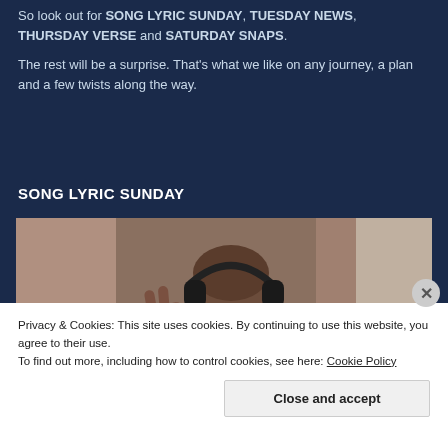So look out for SONG LYRIC SUNDAY, TUESDAY NEWS, THURSDAY VERSE and SATURDAY SNAPS.
The rest will be a surprise. That's what we like on any journey, a plan and a few twists along the way.
SONG LYRIC SUNDAY
[Figure (photo): A young Black man wearing over-ear headphones, eyes closed, raising one hand, appearing to enjoy music. Blurred background with warm tones.]
Privacy & Cookies: This site uses cookies. By continuing to use this website, you agree to their use.
To find out more, including how to control cookies, see here: Cookie Policy